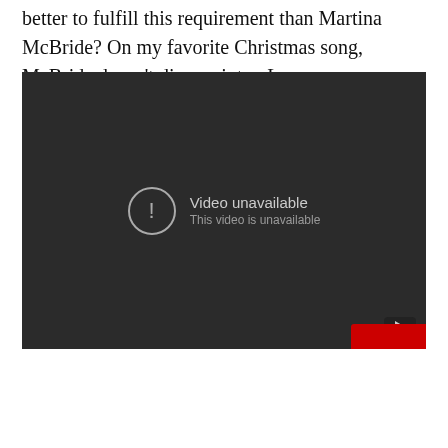better to fulfill this requirement than Martina McBride? On my favorite Christmas song, McBride doesn't disappoint. – Leeann
[Figure (screenshot): YouTube embedded video player showing 'Video unavailable — This video is unavailable' error message on a dark background, with YouTube logo icon in lower right corner and a red bar partially visible at bottom right.]